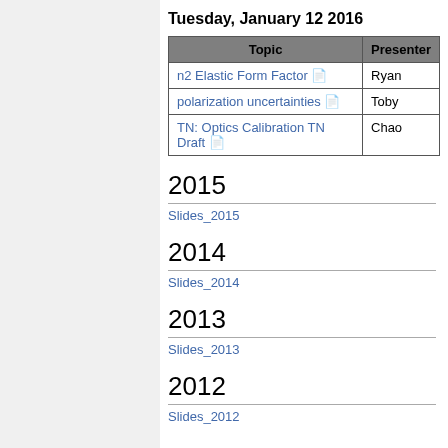Tuesday, January 12 2016
| Topic | Presenter |
| --- | --- |
| n2 Elastic Form Factor 🗎 | Ryan |
| polarization uncertainties 🗎 | Toby |
| TN: Optics Calibration TN Draft 🗎 | Chao |
2015
Slides_2015
2014
Slides_2014
2013
Slides_2013
2012
Slides_2012